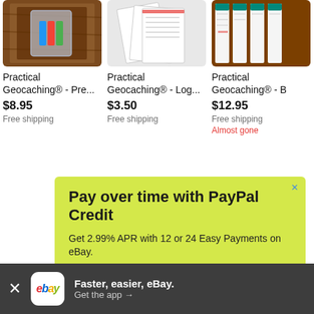[Figure (screenshot): Product image 1: items in plastic bag on wood surface]
Practical Geocaching® - Pre...
$8.95
Free shipping
[Figure (screenshot): Product image 2: log sheets on grey background]
Practical Geocaching® - Log...
$3.50
Free shipping
[Figure (screenshot): Product image 3: items on brown background]
Practical Geocaching® - B
$12.95
Free shipping
Almost gone
[Figure (screenshot): PayPal Credit advertisement banner on yellow-green background with 'Pay over time with PayPal Credit' heading, 'Get 2.99% APR with 12 or 24 Easy Payments on eBay.' body text, and 'See terms' button]
Pay over time with PayPal Credit
Get 2.99% APR with 12 or 24 Easy Payments on eBay.
See terms
[Figure (screenshot): App download bar: eBay logo, 'Faster, easier, eBay.' text, 'Get the app →' subtext]